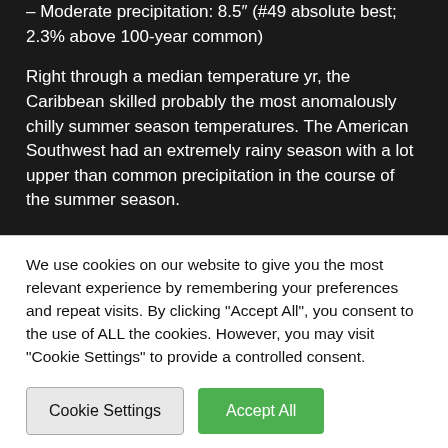– Moderate precipitation: 8.5″ (#49 absolute best; 2.3% above 100-year common)
Right through a median temperature yr, the Caribbean skilled probably the most anomalously chilly summer season temperatures. The American Southwest had an extremely rainy season with a lot upper than common precipitation in the course of the summer season.
We use cookies on our website to give you the most relevant experience by remembering your preferences and repeat visits. By clicking "Accept All", you consent to the use of ALL the cookies. However, you may visit "Cookie Settings" to provide a controlled consent.
Cookie Settings
Accept All